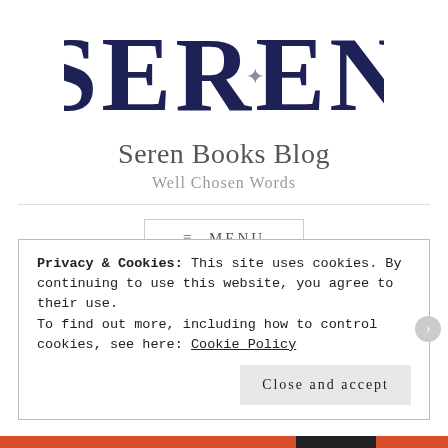[Figure (logo): SEREN logo in large dark navy serif bold letters with a star/asterisk decorative element in the center letter E]
Seren Books Blog
Well Chosen Words
≡ MENU
Privacy & Cookies: This site uses cookies. By continuing to use this website, you agree to their use.
To find out more, including how to control cookies, see here: Cookie Policy
Close and accept